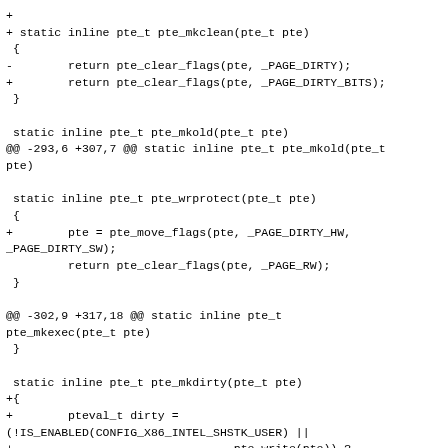+ static inline pte_t pte_mkclean(pte_t pte)
 {
-        return pte_clear_flags(pte, _PAGE_DIRTY);
+        return pte_clear_flags(pte, _PAGE_DIRTY_BITS);
 }

 static inline pte_t pte_mkold(pte_t pte)
@@ -293,6 +307,7 @@ static inline pte_t pte_mkold(pte_t
pte)

 static inline pte_t pte_wrprotect(pte_t pte)
 {
+        pte = pte_move_flags(pte, _PAGE_DIRTY_HW,
_PAGE_DIRTY_SW);
         return pte_clear_flags(pte, _PAGE_RW);
 }

@@ -302,9 +317,18 @@ static inline pte_t
pte_mkexec(pte_t pte)
 }

 static inline pte_t pte_mkdirty(pte_t pte)
+{
+        pteval_t dirty =
(!IS_ENABLED(CONFIG_X86_INTEL_SHSTK_USER) ||
+                                pte_write(pte)) ?
_PAGE_DIRTY_HW:_PAGE_DIRTY_SW;
+        return pte_set_flags(pte, dirty |
_PAGE_SOFT_DIRTY);